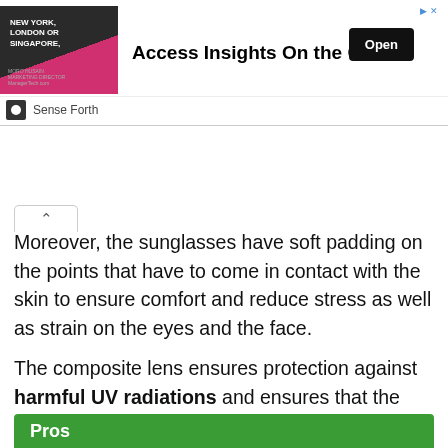[Figure (screenshot): Advertisement banner: 'Access Insights On the Go' with Open button and Sense Forth branding]
Moreover, the sunglasses have soft padding on the points that have to come in contact with the skin to ensure comfort and reduce stress as well as strain on the eyes and the face.
The composite lens ensures protection against harmful UV radiations and ensures that the lens can take a hit; gives you a shatter-proof lens.
Pros